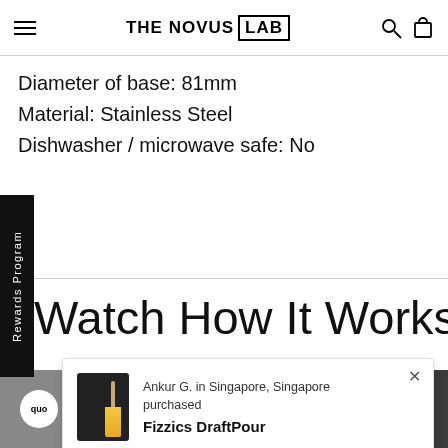THE NOVUS LAB
Diameter of base: 81mm
Material: Stainless Steel
Dishwasher / microwave safe: No
Watch How It Works Here
[Figure (screenshot): Popup notification showing Ankur G. in Singapore, Singapore purchased Fizzics DraftPour, with product image]
Ankur G. in Singapore, Singapore purchased
Fizzics DraftPour
[Figure (photo): Photo strip at bottom of page showing person outdoors]